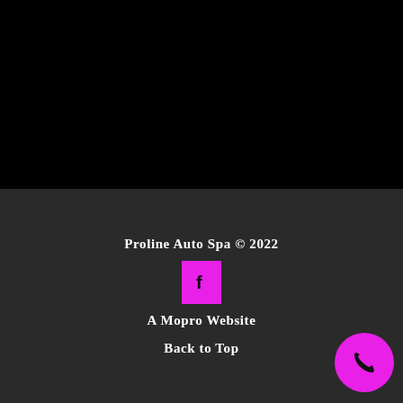[Figure (other): Black background area occupying the top half of the page]
Proline Auto Spa © 2022
[Figure (logo): Magenta/pink square Facebook icon with white 'f' letter]
A Mopro Website
Back to Top
[Figure (other): Magenta/pink circular phone call button in bottom right corner]